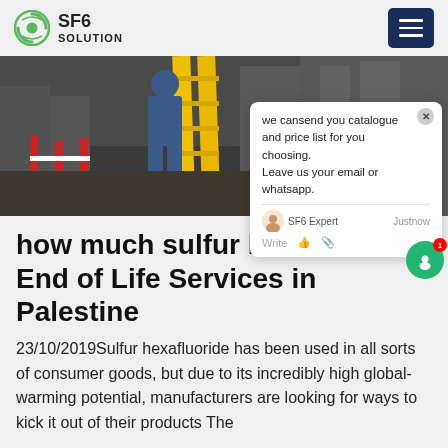SF6 SOLUTION
[Figure (photo): Industrial photo showing a worker on a ladder in a facility with electrical or industrial equipment, yellow ladder prominent, industrial setting]
how much sulfur hexafluoride End of Life Services in Palestine
23/10/2019Sulfur hexafluoride has been used in all sorts of consumer goods, but due to its incredibly high global-warming potential, manufacturers are looking for ways to kick it out of their products The